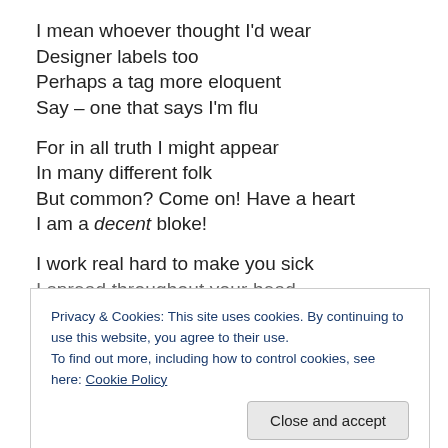I mean whoever thought I'd wear
Designer labels too
Perhaps a tag more eloquent
Say – one that says I'm flu
For in all truth I might appear
In many different folk
But common? Come on! Have a heart
I am a decent bloke!
I work real hard to make you sick
I spread throughout your head
Privacy & Cookies: This site uses cookies. By continuing to use this website, you agree to their use. To find out more, including how to control cookies, see here: Cookie Policy
Close and accept
From your ears will goo